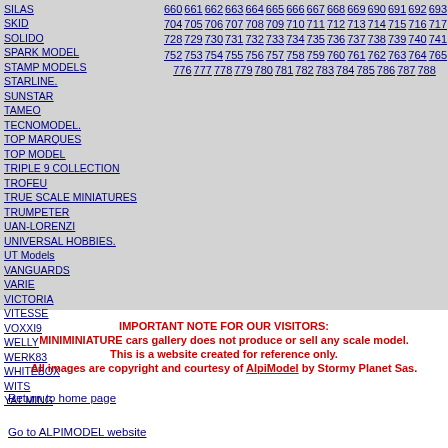SILAS
SKID
SOLIDO
SPARK MODEL
STAMP MODELS
STARLINE.
SUNSTAR
TAMEO
TECNOMODEL.
TOP MARQUES
TOP MODEL
TRIPLE 9 COLLECTION
TROFEU
TRUE SCALE MINIATURES
TRUMPETER
UAN-LORENZI
UNIVERSAL HOBBIES.
UT Models
VANGUARDS
VARIE
VICTORIA
VITESSE
VOXXI9
WELLY
WERK83
WHITEBOX
WITS
YAT MING
660 661 662 663 664 665 666 667 668 669 690 691 692 693 704 705 706 707 708 709 710 711 712 713 714 715 716 717 728 729 730 731 732 733 734 735 736 737 738 739 740 741 752 753 754 755 756 757 758 759 760 761 762 763 764 765 776 777 778 779 780 781 782 783 784 785 786 787 788
IMPORTANT NOTE FOR OUR VISITORS: MINIMINIATURE cars gallery does not produce or sell any scale model. This is a website created for reference only. All images are copyright and courtesy of AlpiModel by Stormy Planet Sas.
Return to home page
Go to ALPIMODEL website